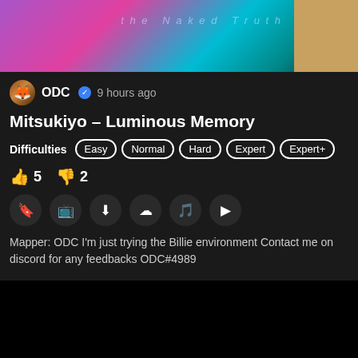[Figure (screenshot): Game/music banner image with pink, teal, purple gradient colors and decorative elements]
ODC ✓ 9 hours ago
Mitsukiyo – Luminous Memory
Difficulties: Easy Normal Hard Expert Expert+
👍5  👎2
Mapper: ODC I'm just trying the Billie environment Contact me on discord for any feedbacks ODC#4989
[Figure (screenshot): Black video player area with white dot indicator]